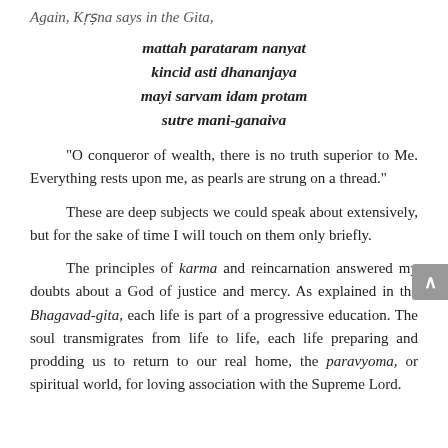Again, Kṛṣna says in the Gita,
mattah parataram nanyat
kincid asti dhananjaya
mayi sarvam idam protam
sutre mani-ganaiva
"O conqueror of wealth, there is no truth superior to Me. Everything rests upon me, as pearls are strung on a thread."
These are deep subjects we could speak about extensively, but for the sake of time I will touch on them only briefly.
The principles of karma and reincarnation answered my doubts about a God of justice and mercy. As explained in the Bhagavad-gita, each life is part of a progressive education. The soul transmigrates from life to life, each life preparing and prodding us to return to our real home, the paravyoma, or spiritual world, for loving association with the Supreme Lord.